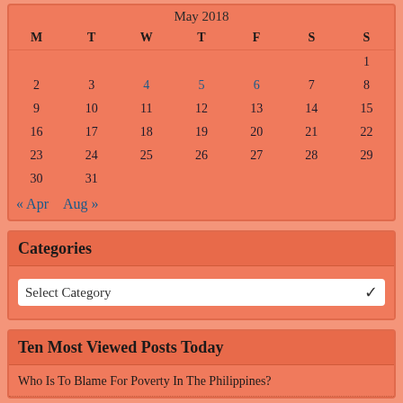May 2018
| M | T | W | T | F | S | S |
| --- | --- | --- | --- | --- | --- | --- |
|  |  |  |  |  |  | 1 |
| 2 | 3 | 4 | 5 | 6 | 7 | 8 |
| 9 | 10 | 11 | 12 | 13 | 14 | 15 |
| 16 | 17 | 18 | 19 | 20 | 21 | 22 |
| 23 | 24 | 25 | 26 | 27 | 28 | 29 |
| 30 | 31 |  |  |  |  |  |
« Apr   Aug »
Categories
Select Category
Ten Most Viewed Posts Today
Who Is To Blame For Poverty In The Philippines?